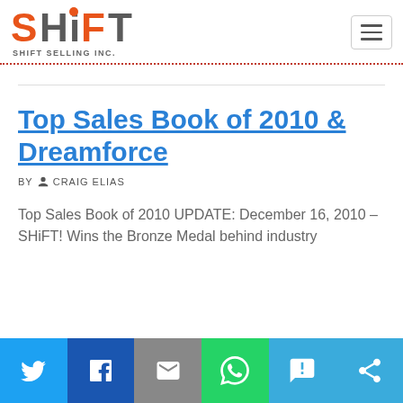SHIFT SELLING INC.
Top Sales Book of 2010 & Dreamforce
BY CRAIG ELIAS
Top Sales Book of 2010 UPDATE: December 16, 2010 – SHiFT! Wins the Bronze Medal behind industry